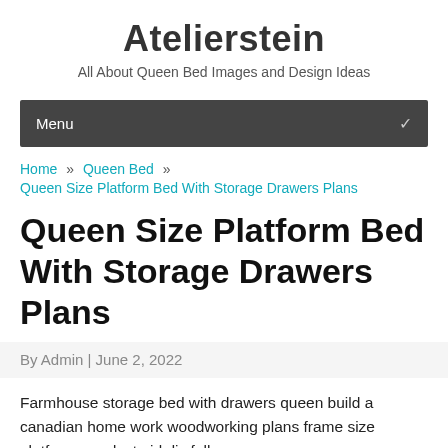Atelierstein
All About Queen Bed Images and Design Ideas
Menu
Home » Queen Bed » Queen Size Platform Bed With Storage Drawers Plans
Queen Size Platform Bed With Storage Drawers Plans
By Admin | June 2, 2022
Farmhouse storage bed with drawers queen build a canadian home work woodworking plans frame size platform sawdust girl diy full or